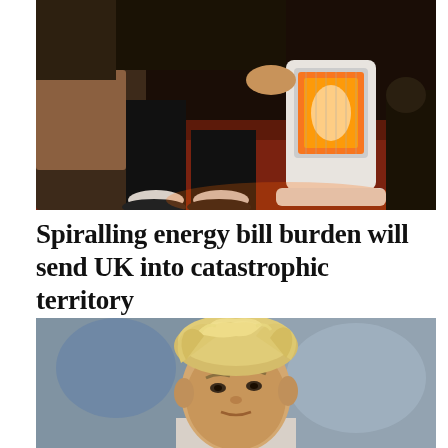[Figure (photo): Person sitting near a glowing electric heater, warming their feet, dark warm-toned photograph]
Spiralling energy bill burden will send UK into catastrophic territory
[Figure (photo): Blonde man with dishevelled hair looking upward, soft blurred grey background, portrait style]